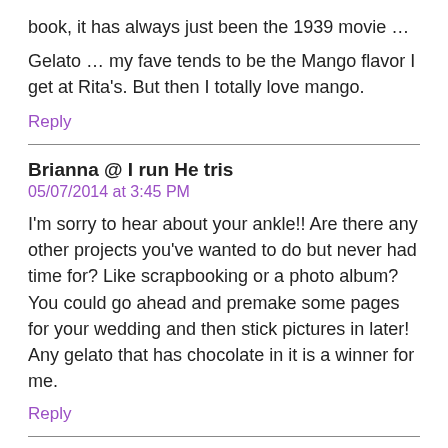book, it has always just been the 1939 movie …

Gelato … my fave tends to be the Mango flavor I get at Rita's. But then I totally love mango.
Reply
Brianna @ I run He tris
05/07/2014 at 3:45 PM
I'm sorry to hear about your ankle!! Are there any other projects you've wanted to do but never had time for? Like scrapbooking or a photo album? You could go ahead and premake some pages for your wedding and then stick pictures in later! Any gelato that has chocolate in it is a winner for me.
Reply
Lisa @ Running Out Of Wine
05/07/2014 at 8:12 PM
Congrats on the new job! And WRICE should definitely be a